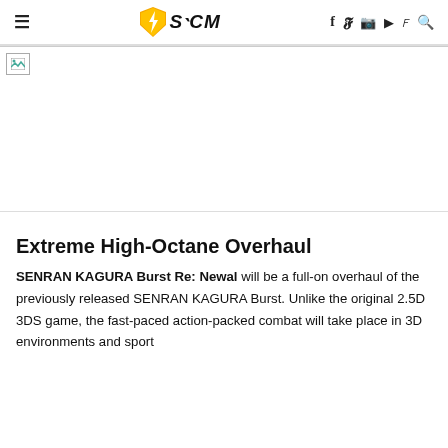≡  SEAGM  f y ☐ ▶ ♪ 🔍
[Figure (photo): Broken image placeholder at top of article]
Extreme High-Octane Overhaul
SENRAN KAGURA Burst Re: Newal will be a full-on overhaul of the previously released SENRAN KAGURA Burst. Unlike the original 2.5D 3DS game, the fast-paced action-packed combat will take place in 3D environments and sport